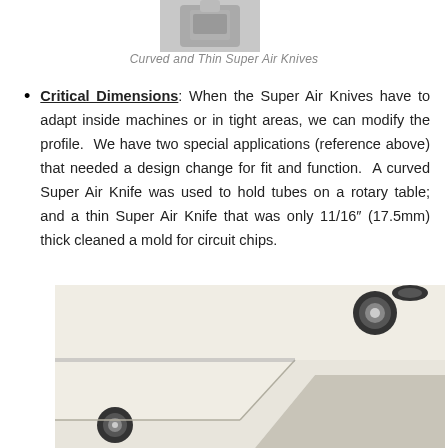[Figure (photo): Partial view of curved and thin Super Air Knife components at the top of the page]
Curved and Thin Super Air Knives
Critical Dimensions: When the Super Air Knives have to adapt inside machines or in tight areas, we can modify the profile. We have two special applications (reference above) that needed a design change for fit and function. A curved Super Air Knife was used to hold tubes on a rotary table; and a thin Super Air Knife that was only 11/16" (17.5mm) thick cleaned a mold for circuit chips.
[Figure (photo): Close-up photo of a thin/flat Super Air Knife device showing its rectangular metallic body with bolt holes and angled edge]